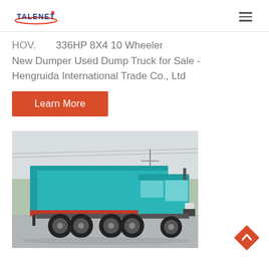TALENET [logo] [hamburger menu]
HOV... 336HP 8X4 10 Wheeler New Dumper Used Dump Truck for Sale - Hengruida International Trade Co., Ltd
Learn More
[Figure (photo): A teal/turquoise dump truck (8x4 configuration) photographed from the rear-left angle in a parking area, with trees and utility poles in the background.]